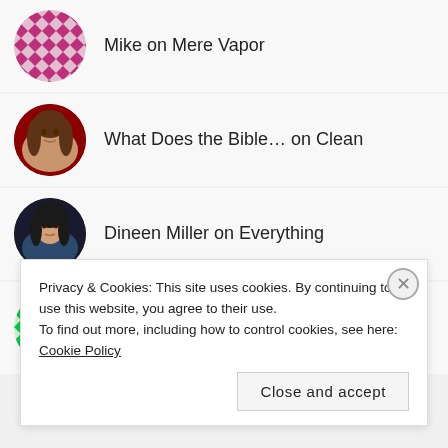Mike on Mere Vapor
What Does the Bible… on Clean
Dineen Miller on Everything
Angie Cleary on Everything
Privacy & Cookies: This site uses cookies. By continuing to use this website, you agree to their use.
To find out more, including how to control cookies, see here: Cookie Policy
Close and accept